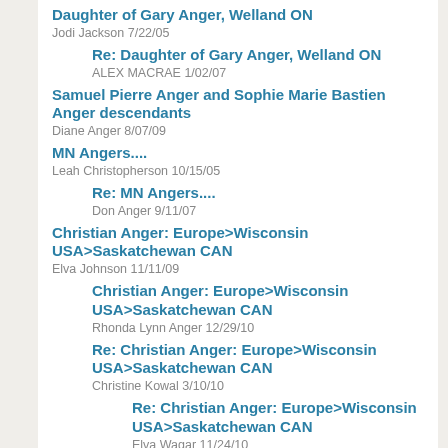Daughter of Gary Anger, Welland ON
Jodi Jackson 7/22/05
Re: Daughter of Gary Anger, Welland ON
ALEX MACRAE 1/02/07
Samuel Pierre Anger and Sophie Marie Bastien Anger descendants
Diane Anger 8/07/09
MN Angers....
Leah Christopherson 10/15/05
Re: MN Angers....
Don Anger 9/11/07
Christian Anger: Europe>Wisconsin USA>Saskatchewan CAN
Elva Johnson 11/11/09
Christian Anger: Europe>Wisconsin USA>Saskatchewan CAN
Rhonda Lynn Anger 12/29/10
Re: Christian Anger: Europe>Wisconsin USA>Saskatchewan CAN
Christine Kowal 3/10/10
Re: Christian Anger: Europe>Wisconsin USA>Saskatchewan CAN
Elva Wagar 11/24/10
Re: Christian Anger: Europe>Wisconsin USA>Saskatchewan CAN